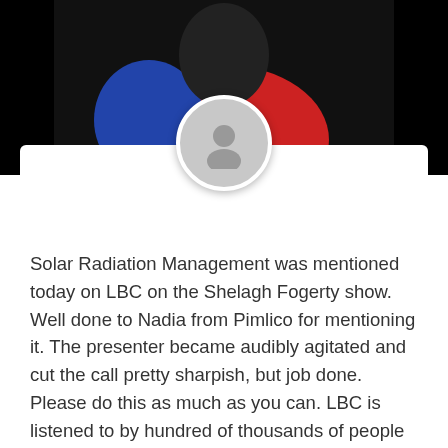[Figure (photo): Top portion showing a person in a red shirt against a dark background, with a circular grey avatar/profile placeholder icon overlaid in the center]
Solar Radiation Management was mentioned today on LBC on the Shelagh Fogerty show. Well done to Nadia from Pimlico for mentioning it. The presenter became audibly agitated and cut the call pretty sharpish, but job done. Please do this as much as you can. LBC is listened to by hundred of thousands of people during the day and is a great way to get the word out there. On that note, we have tried repeatedly to get on and speak about why Sadiq Khan is refusing to acknowledge the massive contribution from aviation to the smogs in London.